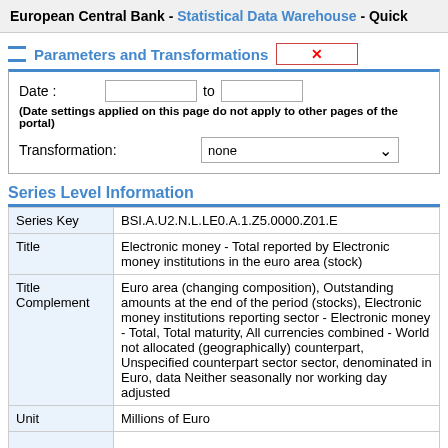European Central Bank - Statistical Data Warehouse - Quick
Parameters and Transformations
Date : to
(Date settings applied on this page do not apply to other pages of the portal)
Transformation: none
Series Level Information
|  |  |
| --- | --- |
| Series Key | BSI.A.U2.N.L.LE0.A.1.Z5.0000.Z01.E |
| Title | Electronic money - Total reported by Electronic money institutions in the euro area (stock) |
| Title Complement | Euro area (changing composition), Outstanding amounts at the end of the period (stocks), Electronic money institutions reporting sector - Electronic money - Total, Total maturity, All currencies combined - World not allocated (geographically) counterpart, Unspecified counterpart sector sector, denominated in Euro, data Neither seasonally nor working day adjusted |
| Unit | Millions of Euro |